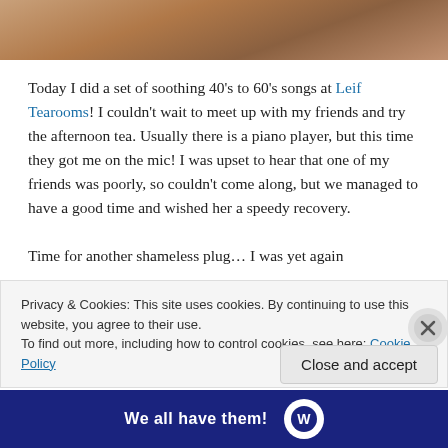[Figure (photo): Partial photo strip at the top of the page, showing a blurred warm-toned image (possibly a tea setting)]
Today I did a set of soothing 40's to 60's songs at Leif Tearooms! I couldn't wait to meet up with my friends and try the afternoon tea. Usually there is a piano player, but this time they got me on the mic! I was upset to hear that one of my friends was poorly, so couldn't come along, but we managed to have a good time and wished her a speedy recovery.
Time for another shameless plug… I was yet again
Privacy & Cookies: This site uses cookies. By continuing to use this website, you agree to their use.
To find out more, including how to control cookies, see here: Cookie Policy
[Figure (other): Close button (X) circle on the right side of the cookie banner]
Close and accept
[Figure (other): Bottom banner with text 'We all have them!' and WordPress logo]